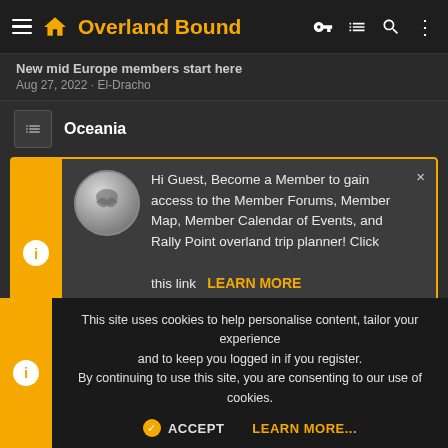Overland Bound
New mid Europe members start here
Aug 27, 2022 · El-Dracho
Oceania
Hi Guest, Become a Member to gain access to the Member Forums, Member Map, Member Calendar of Events, and Rally Point overland trip planner! Click this link LEARN MORE for more information!
Middle East/Asia
This site uses cookies to help personalise content, tailor your experience and to keep you logged in if you register.
By continuing to use this site, you are consenting to our use of cookies.
ACCEPT   LEARN MORE...